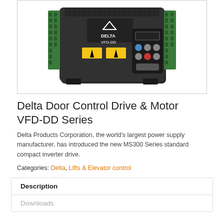[Figure (photo): Delta VFD-DD series door control drive & motor unit — a black industrial variable frequency drive with green terminal connectors on both sides, Delta logo and 'VFD-DD' label on front, warning stickers, and a control keypad panel on the right side.]
Delta Door Control Drive & Motor VFD-DD Series
Delta Products Corporation, the world's largest power supply manufacturer, has introduced the new MS300 Series standard compact inverter drive.
Categories: Delta, Lifts & Elevator control
Description
Downloads